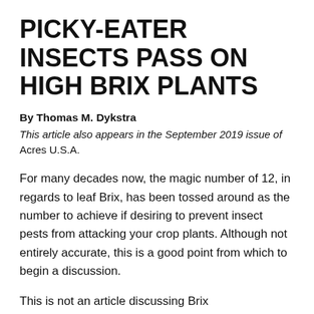PICKY-EATER INSECTS PASS ON HIGH BRIX PLANTS
By Thomas M. Dykstra
This article also appears in the September 2019 issue of Acres U.S.A.
For many decades now, the magic number of 12, in regards to leaf Brix, has been tossed around as the number to achieve if desiring to prevent insect pests from attacking your crop plants. Although not entirely accurate, this is a good point from which to begin a discussion.
This is not an article discussing Brix